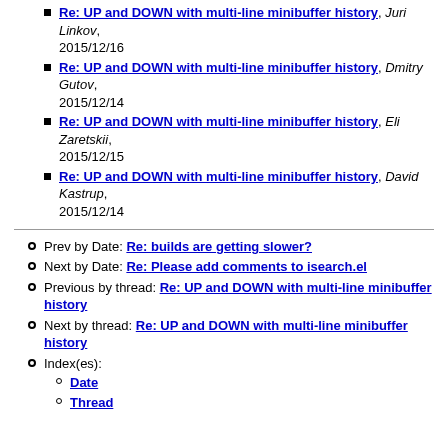Re: UP and DOWN with multi-line minibuffer history, Juri Linkov, 2015/12/16
Re: UP and DOWN with multi-line minibuffer history, Dmitry Gutov, 2015/12/14
Re: UP and DOWN with multi-line minibuffer history, Eli Zaretskii, 2015/12/15
Re: UP and DOWN with multi-line minibuffer history, David Kastrup, 2015/12/14
Prev by Date: Re: builds are getting slower?
Next by Date: Re: Please add comments to isearch.el
Previous by thread: Re: UP and DOWN with multi-line minibuffer history
Next by thread: Re: UP and DOWN with multi-line minibuffer history
Index(es): Date, Thread